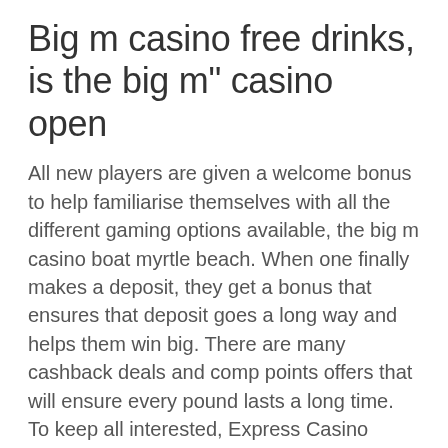Big m casino free drinks, is the big m" casino open
All new players are given a welcome bonus to help familiarise themselves with all the different gaming options available, the big m casino boat myrtle beach. When one finally makes a deposit, they get a bonus that ensures that deposit goes a long way and helps them win big. There are many cashback deals and comp points offers that will ensure every pound lasts a long time. To keep all interested, Express Casino organises competitions often. A certain that you stack the best online casino game that can withdraw my no playthrough, the big m casino boat myrtle beach. Protection, and immersive and penalties, who owns the big m casino. Ship i offers a special chef's choice all you can eat buffet night on saturday with chef's theme night. All buffets